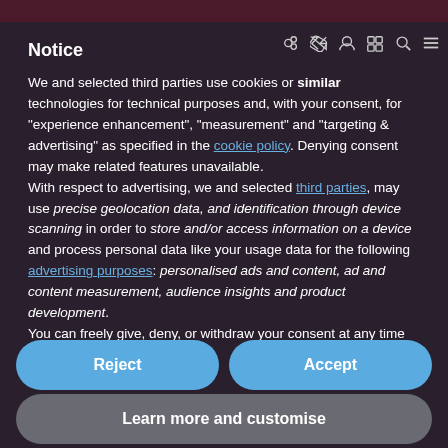Notice
We and selected third parties use cookies or similar technologies for technical purposes and, with your consent, for "experience enhancement", "measurement" and "targeting & advertising" as specified in the cookie policy. Denying consent may make related features unavailable.
With respect to advertising, we and selected third parties, may use precise geolocation data, and identification through device scanning in order to store and/or access information on a device and process personal data like your usage data for the following advertising purposes: personalised ads and content, ad and content measurement, audience insights and product development.
You can freely give, deny, or withdraw your consent at any time
Reject
Accept
Learn more and customise